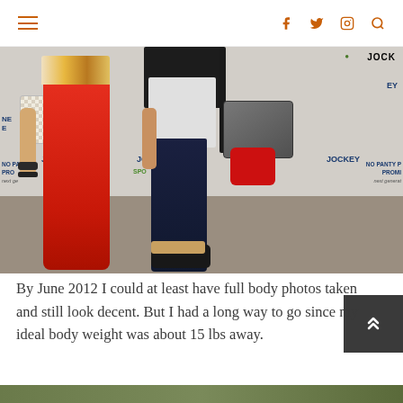Navigation bar with hamburger menu, Facebook, Twitter, Instagram, and search icons
[Figure (photo): Two people standing in front of a Jockey 'No Panty Promise' promotional backdrop. Person on left wears a long red dress with patterned top and carries a white bag, with black bracelets on wrist. Person on right wears a black top over white shirt with dark jeans and flip-flop sandals, carrying a grey crossbody bag with red pouch.]
By June 2012 I could at least have full body photos taken and still look decent. But I had a long way to go since my ideal body weight was about 15 lbs away.
[Figure (photo): Bottom edge of another photo, partially visible at the bottom of the page, showing a green/outdoor scene.]